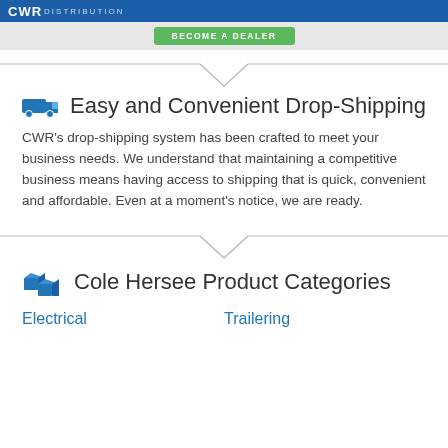CWR DISTRIBUTION
BECOME A DEALER
Easy and Convenient Drop-Shipping
CWR’s drop-shipping system has been crafted to meet your business needs. We understand that maintaining a competitive business means having access to shipping that is quick, convenient and affordable. Even at a moment’s notice, we are ready.
Cole Hersee Product Categories
Electrical
Trailering